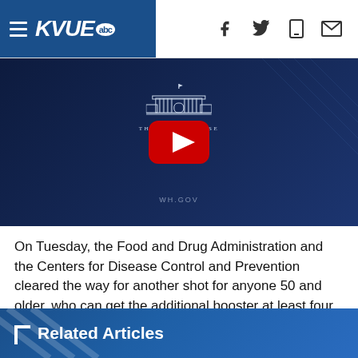KVUE abc
[Figure (screenshot): White House video thumbnail with YouTube play button overlay on dark navy background, showing White House building logo and WH.GOV text]
On Tuesday, the Food and Drug Administration and the Centers for Disease Control and Prevention cleared the way for another shot for anyone 50 and older, who can get the additional booster at least four months after their last vaccination. Severely immune-compromised patients, such as organ transplant recipients, as young as 12, are also eligible.
Related Articles